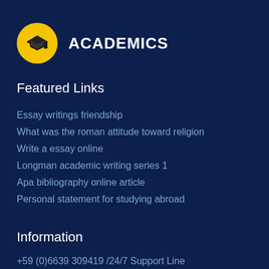ACADEMICS
Featured Links
Essay writings friendship
What was the roman attitude toward religion
Write a essay online
Longman academic writing series 1
Apa bibliography online article
Personal statement for studying abroad
Information
+59 (0)6639 309419 /24/7 Support Line